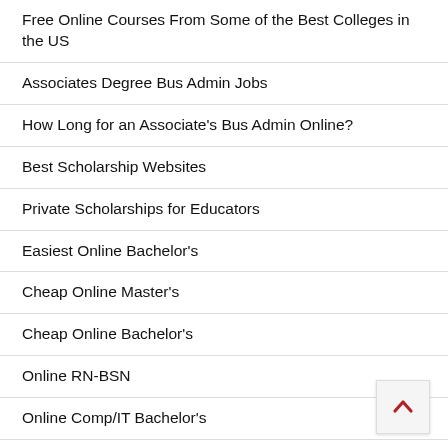Free Online Courses From Some of the Best Colleges in the US
Associates Degree Bus Admin Jobs
How Long for an Associate's Bus Admin Online?
Best Scholarship Websites
Private Scholarships for Educators
Easiest Online Bachelor's
Cheap Online Master's
Cheap Online Bachelor's
Online RN-BSN
Online Comp/IT Bachelor's
Difference Between an IT and Computer Science Degree?
Online ECE Bachelor's
Online EdD Educational Leadership